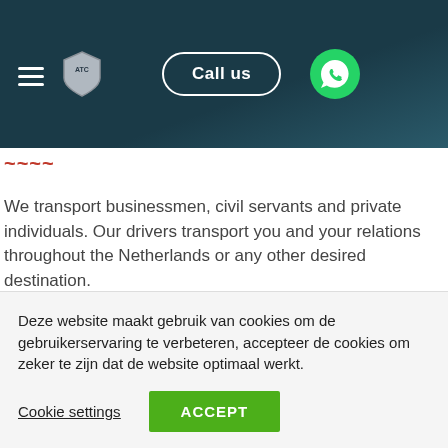ATC logo, hamburger menu, Call us button, WhatsApp icon
We transport businessmen, civil servants and private individuals. Our drivers transport you and your relations throughout the Netherlands or any other desired destination.
The drivers of Amsterdam Taxi centrale are well trained and uniformed drivers come to drive in various luxury cars. Amsterdam central has several cars. All our vehicles are equipped with all
Deze website maakt gebruik van cookies om de gebruikerservaring te verbeteren, accepteer de cookies om zeker te zijn dat de website optimaal werkt.
Cookie settings  ACCEPT